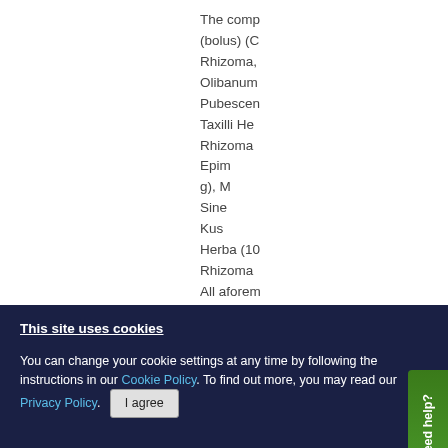The comp (bolus) (C Rhizoma, Olibanum Pubescen Taxilli He Rhizoma Epim g), M Sine Kus Herba (10 Rhizoma All aforem
This site uses cookies
You can change your cookie settings at any time by following the instructions in our Cookie Policy. To find out more, you may read our Privacy Policy.